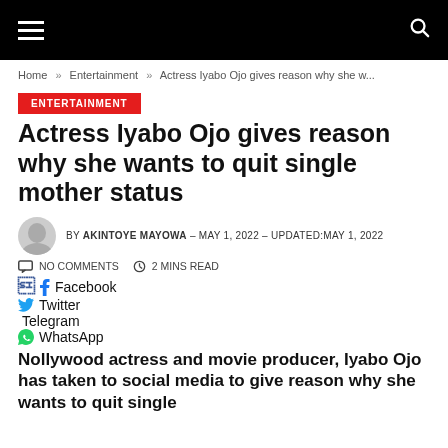Navigation header with hamburger menu and search icon
Home » Entertainment » Actress Iyabo Ojo gives reason why she w...
ENTERTAINMENT
Actress Iyabo Ojo gives reason why she wants to quit single mother status
BY AKINTOYE MAYOWA – MAY 1, 2022 – UPDATED:MAY 1, 2022
NO COMMENTS   2 MINS READ
Facebook
Twitter
Telegram
WhatsApp
Nollywood actress and movie producer, Iyabo Ojo has taken to social media to give reason why she wants to quit single